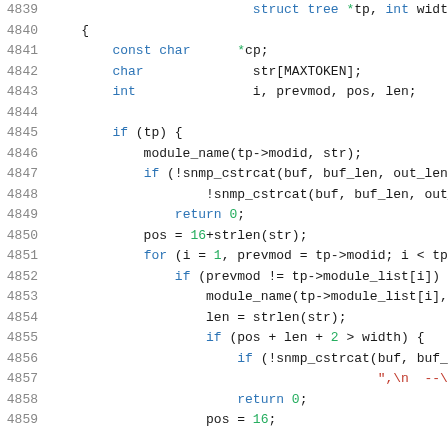[Figure (screenshot): Source code listing showing C code with line numbers 4839-4859. Lines show function body with variable declarations, if statements, for loops, and function calls involving struct tree pointer, snmp_cstrcat, module_name, and strlen operations.]